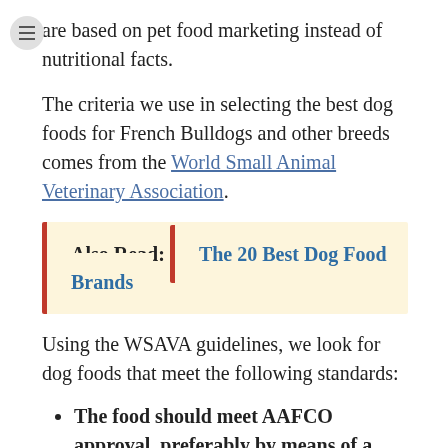are based on pet food marketing instead of nutritional facts.
The criteria we use in selecting the best dog foods for French Bulldogs and other breeds comes from the World Small Animal Veterinary Association.
Also Read: The 20 Best Dog Food Brands
Using the WSAVA guidelines, we look for dog foods that meet the following standards:
The food should meet AAFCO approval, preferably by means of a food trial instead of a nutrient profile